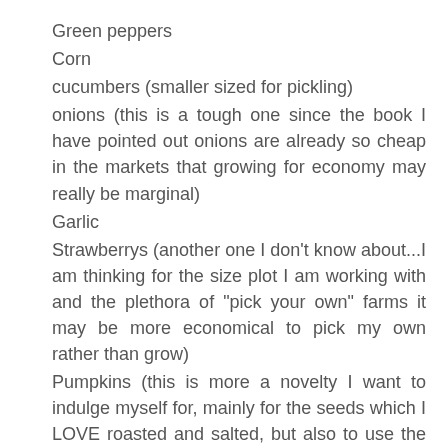Green peppers
Corn
cucumbers (smaller sized for pickling)
onions (this is a tough one since the book I have pointed out onions are already so cheap in the markets that growing for economy may really be marginal)
Garlic
Strawberrys (another one I don't know about...I am thinking for the size plot I am working with and the plethora of "pick your own" farms it may be more economical to pick my own rather than grow)
Pumpkins (this is more a novelty I want to indulge myself for, mainly for the seeds which I LOVE roasted and salted, but also to use the flesh for pumpkin pies and the odd one for Halloween carving...either way I don'tplan on growing many, maybe half a dozen of jack-o-latern size)